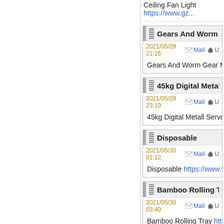Ceiling Fan Light https://www.gz...
Gears And Worm Gear Mach...
2021/05/29 21:16   Mail   U...
Gears And Worm Gear Machinin...
45kg Digital Metall Servo
2021/05/29 23:10   Mail   U...
45kg Digital Metall Servo http://w...
Disposable
2021/05/30 01:12   Mail   U...
Disposable https://www.vtchina....
Bamboo Rolling Tray
2021/05/30 03:40   Mail   U...
Bamboo Rolling Tray https://www...